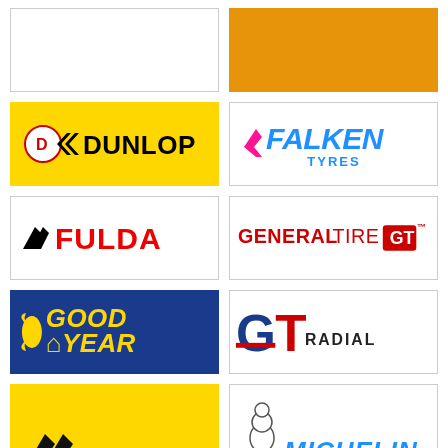[Figure (logo): Partially visible logo box at top-left (cut off)]
[Figure (logo): Orange background logo box at top-right (cut off)]
[Figure (logo): Dunlop logo on yellow background]
[Figure (logo): Falken Tyres logo on white background]
[Figure (logo): Fulda logo on white background]
[Figure (logo): General Tire logo on white background]
[Figure (logo): Goodyear logo on blue background]
[Figure (logo): GT Radial logo on white background]
[Figure (logo): Kormoran logo on yellow background (partially cut off)]
[Figure (logo): Michelin logo on white background (partially cut off)]